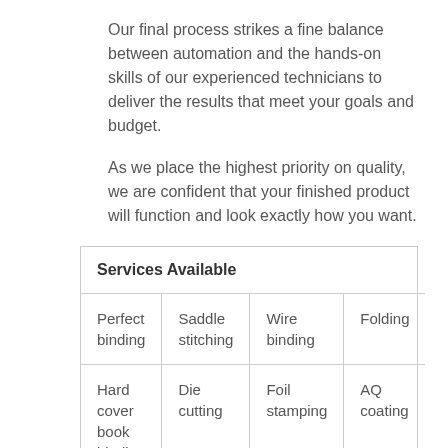Our final process strikes a fine balance between automation and the hands-on skills of our experienced technicians to deliver the results that meet your goals and budget.
As we place the highest priority on quality, we are confident that your finished product will function and look exactly how you want.
| Services Available |
| --- |
| Perfect binding | Saddle stitching | Wire binding | Folding |
| Hard cover book binding | Die cutting | Foil stamping | AQ coating |